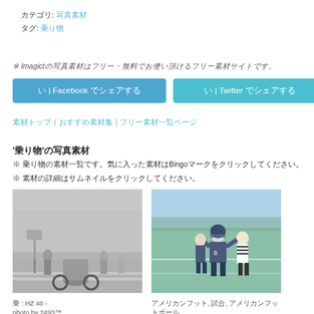カテゴリ: 写真素材
タグ: 乗り物
※ Imagictの写真素材はフリー・無料でお使い頂けるフリー素材サイトです。
い | Facebook でシェアする
い | Twitter でシェアする
素材トップ | おすすめ素材集 | フリー素材一覧ページ
'乗り物'の写真素材
※ 乗り物の素材一覧です。気に入った素材はBingoマークをクリックしてください。
※ 素材の詳細はサムネイルをクリックしてください。
[Figure (photo): Black and white street scene with people and a rickshaw/bicycle cart]
乗 : HZ 40 -
photo by 2493™
[Figure (photo): American football players on a green field with a referee]
アメリカンフット, 試合, アメリカンフットボール
keijj44